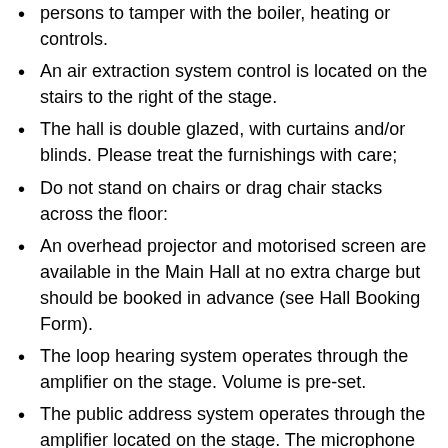persons to tamper with the boiler, heating or controls.
An air extraction system control is located on the stairs to the right of the stage.
The hall is double glazed, with curtains and/or blinds. Please treat the furnishings with care;
Do not stand on chairs or drag chair stacks across the floor:
An overhead projector and motorised screen are available in the Main Hall at no extra charge but should be booked in advance (see Hall Booking Form).
The loop hearing system operates through the amplifier on the stage. Volume is pre-set.
The public address system operates through the amplifier located on the stage. The microphone is housed on the stage and the volume is controlled through the “Master “dial.
The line inputs for connecting CD players etc. are located on the stage and the volume is controlled